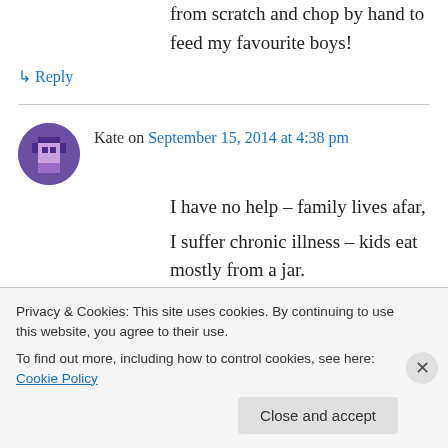from scratch and chop by hand to feed my favourite boys!
↳ Reply
Kate on September 15, 2014 at 4:38 pm
I have no help – family lives afar,
I suffer chronic illness – kids eat mostly from a jar.
Please help me,
Feed my babeies – fresh food!
Privacy & Cookies: This site uses cookies. By continuing to use this website, you agree to their use.
To find out more, including how to control cookies, see here: Cookie Policy